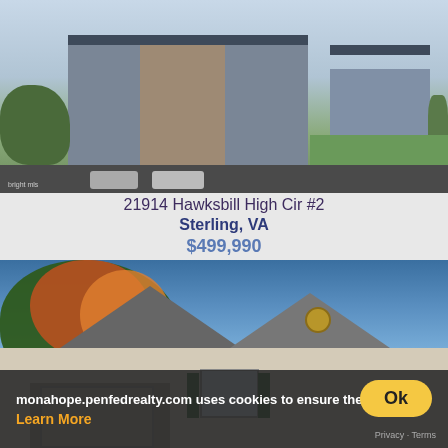[Figure (photo): Exterior rendering of a modern multi-story apartment/condo building with stone and siding facade, balconies, and landscaping with parked cars in foreground]
21914 Hawksbill High Cir #2
Sterling, VA
$499,990
[Figure (photo): Exterior photo of a residential house with gabled roofline, cream/beige siding, green shutters, and surrounding trees with colorful autumn foliage]
monahope.penfedrealty.com uses cookies to ensure the bes
Learn More
Ok
Privacy - Terms